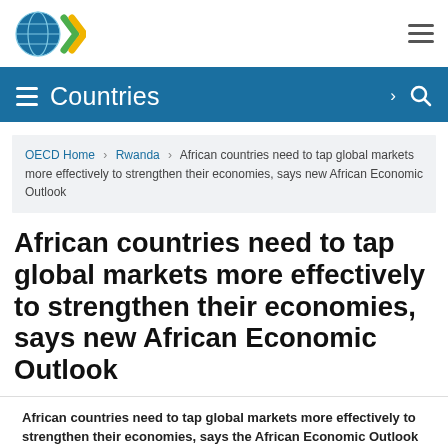[Figure (logo): OECD globe logo with blue globe and green/yellow chevrons, with hamburger menu icon top right]
Countries
OECD Home › Rwanda › African countries need to tap global markets more effectively to strengthen their economies, says new African Economic Outlook
African countries need to tap global markets more effectively to strengthen their economies, says new African Economic Outlook
African countries need to tap global markets more effectively to strengthen their economies, says the African Economic Outlook
Share